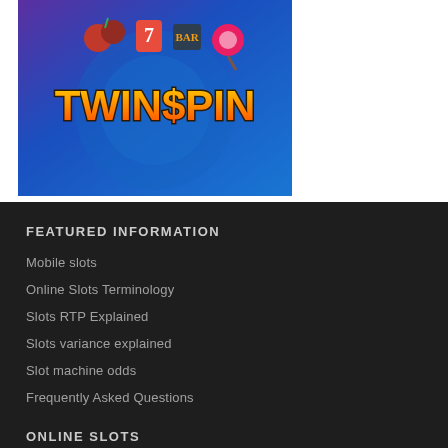[Figure (screenshot): Twin Spin slot game logo/banner image on blue/purple background with fruit symbols]
FEATURED INFORMATION
Mobile slots
Online Slots Terminology
Slots RTP Explained
Slots variance explained
Slot machine odds
Frequently Asked Questions
ONLINE SLOTS